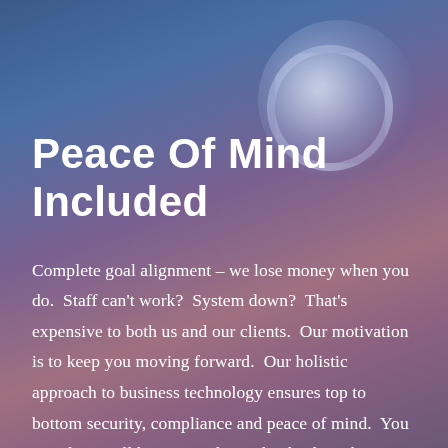Peace Of Mind Included
Complete goal alignment – we lose money when you do.  Staff can't work?  System down?  That's expensive to both us and our clients.  Our motivation is to keep you moving forward.  Our holistic approach to business technology ensures top to bottom security, compliance and peace of mind.  You can sleep well having evidence that backups have been tested, your systems are clean and our team is